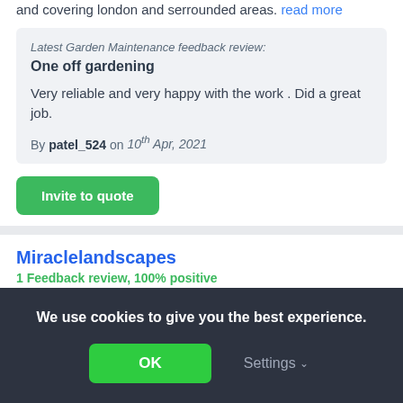and covering london and serrounded areas. read more
Latest Garden Maintenance feedback review:
One off gardening
Very reliable and very happy with the work . Did a great job.
By patel_524 on 10th Apr, 2021
Invite to quote
Miraclelandscapes
1 Feedback review, 100% positive
We use cookies to give you the best experience.
OK
Settings